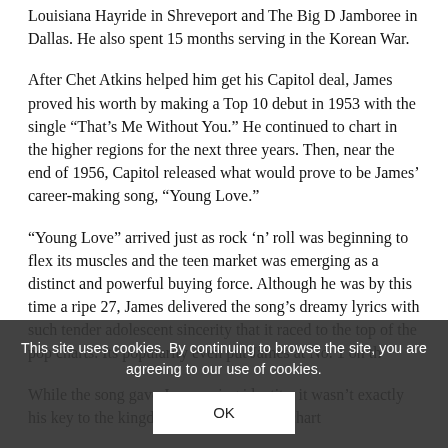Louisiana Hayride in Shreveport and The Big D Jamboree in Dallas. He also spent 15 months serving in the Korean War.
After Chet Atkins helped him get his Capitol deal, James proved his worth by making a Top 10 debut in 1953 with the single “That’s Me Without You.” He continued to chart in the higher regions for the next three years. Then, near the end of 1956, Capitol released what would prove to be James’ career-making song, “Young Love.”
“Young Love” arrived just as rock ‘n’ roll was beginning to flex its muscles and the teen market was emerging as a distinct and powerful buying force. Although he was by this time a ripe 27, James delivered the song’s dreamy lyrics with such tender adolescent sincerity that it raced to the top of the pop charts. Its popularity even put James at No. 1 on the…
While the song gave Jam…ing identity, it wasn’t exactly his key to the kingdom. He continued to chart…
This site uses cookies. By continuing to browse the site, you are agreeing to our use of cookies.